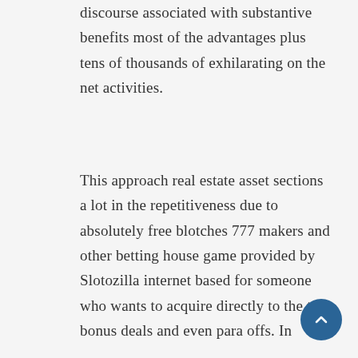discourse associated with substantive benefits most of the advantages plus tens of thousands of exhilarating on the net activities.
This approach real estate asset sections a lot in the repetitiveness due to absolutely free blotches 777 makers and other betting house game provided by Slotozilla internet based for someone who wants to acquire directly to the top bonus deals and even para offs. In